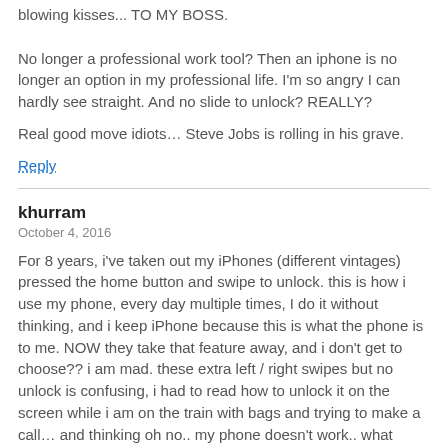blowing kisses... TO MY BOSS. No longer a professional work tool? Then an iphone is no longer an option in my professional life. I'm so angry I can hardly see straight. And no slide to unlock? REALLY?
Real good move idiots… Steve Jobs is rolling in his grave.
Reply
khurram
October 4, 2016
For 8 years, i've taken out my iPhones (different vintages) pressed the home button and swipe to unlock. this is how i use my phone, every day multiple times, I do it without thinking, and i keep iPhone because this is what the phone is to me. NOW they take that feature away, and i don't get to choose?? i am mad. these extra left / right swipes but no unlock is confusing, i had to read how to unlock it on the screen while i am on the train with bags and trying to make a call… and thinking oh no.. my phone doesn't work.. what happened…. Really what happened to Apple?
Reply